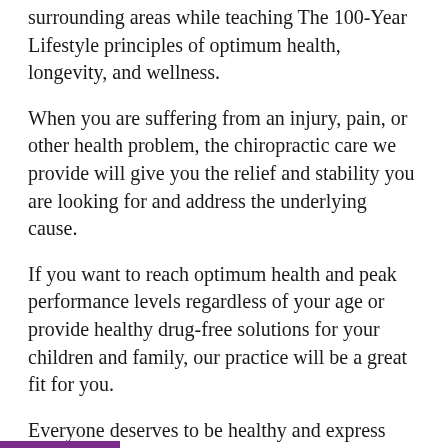surrounding areas while teaching The 100-Year Lifestyle principles of optimum health, longevity, and wellness.
When you are suffering from an injury, pain, or other health problem, the chiropractic care we provide will give you the relief and stability you are looking for and address the underlying cause.
If you want to reach optimum health and peak performance levels regardless of your age or provide healthy drug-free solutions for your children and family, our practice will be a great fit for you.
Everyone deserves to be healthy and express their full potential from the time they are born through their last breath of life. This includes you.